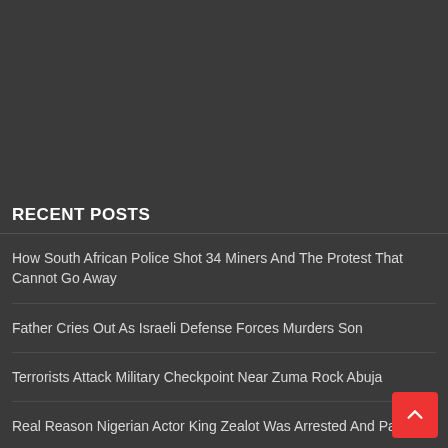[Figure (other): Dark gray background area (advertisement or empty space placeholder) at the top of the page]
RECENT POSTS
How South African Police Shot 34 Miners And The Protest That Cannot Go Away
Father Cries Out As Israeli Defense Forces Murders Son
Terrorists Attack Military Checkpoint Near Zuma Rock Abuja
Real Reason Nigerian Actor King Zealot Was Arrested And Paraded
Fear As Anambra Police Boss Give Communities Ultimatum To Bring Out Unknown Gun Men, Or...